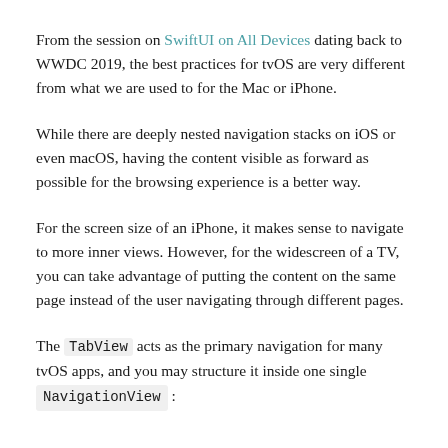From the session on SwiftUI on All Devices dating back to WWDC 2019, the best practices for tvOS are very different from what we are used to for the Mac or iPhone.
While there are deeply nested navigation stacks on iOS or even macOS, having the content visible as forward as possible for the browsing experience is a better way.
For the screen size of an iPhone, it makes sense to navigate to more inner views. However, for the widescreen of a TV, you can take advantage of putting the content on the same page instead of the user navigating through different pages.
The TabView acts as the primary navigation for many tvOS apps, and you may structure it inside one single NavigationView :